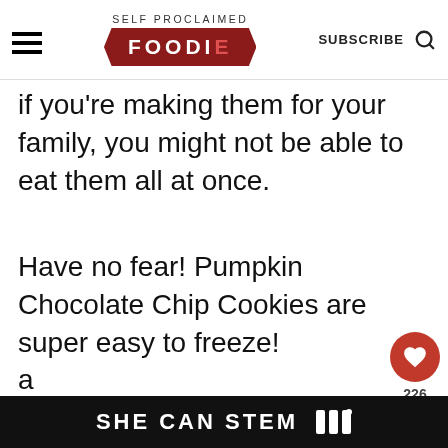SELF PROCLAIMED FOODIE | SUBSCRIBE
If you're making them for your family, you might not be able to eat them all at once.
Have no fear! Pumpkin Chocolate Chip Cookies are super easy to freeze!
I just stick them in a resealable plastic bag, squeeze out all the air, a
SHE CAN STEM